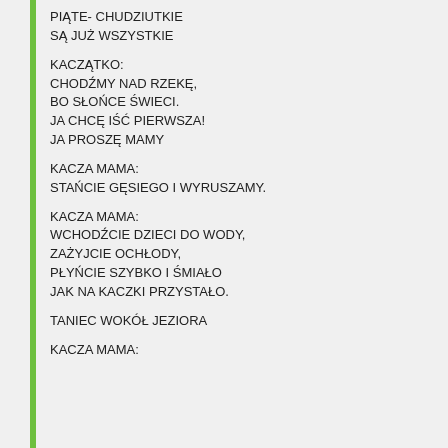PIĄTE- CHUDZIUTKIE
SĄ JUŻ WSZYSTKIE
KACZĄTKO:
CHODŹMY NAD RZEKĘ,
BO SŁOŃCE ŚWIECI.
JA CHCĘ IŚĆ PIERWSZA!
JA PROSZĘ MAMY
KACZA MAMA:
STAŃCIE GĘSIEGO I WYRUSZAMY.
KACZA MAMA:
WCHODŹCIE DZIECI DO WODY,
ZAŻYJCIE OCHŁODY,
PŁYŃCIE SZYBKO I ŚMIAŁO
JAK NA KACZKI PRZYSTAŁO.
TANIEC WOKÓŁ JEZIORA
KACZA MAMA: